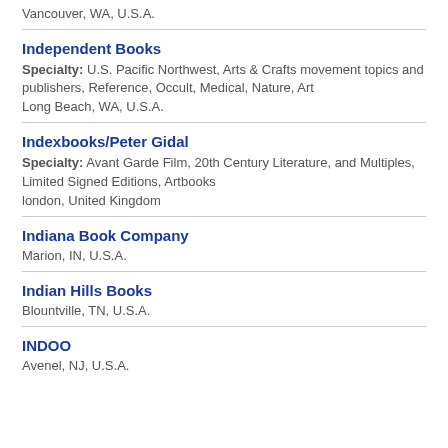Vancouver, WA, U.S.A.
Independent Books
Specialty: U.S. Pacific Northwest, Arts & Crafts movement topics and publishers, Reference, Occult, Medical, Nature, Art
Long Beach, WA, U.S.A.
Indexbooks/Peter Gidal
Specialty: Avant Garde Film, 20th Century Literature, and Multiples, Limited Signed Editions, Artbooks
london, United Kingdom
Indiana Book Company
Marion, IN, U.S.A.
Indian Hills Books
Blountville, TN, U.S.A.
INDOO
Avenel, NJ, U.S.A.